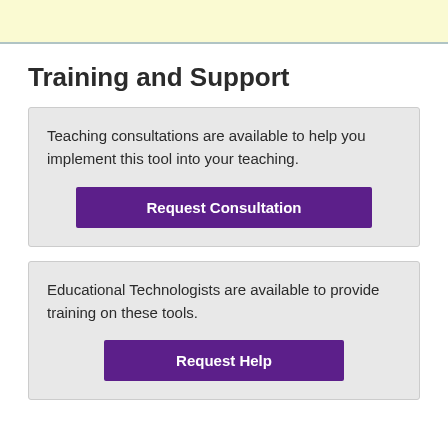Training and Support
Teaching consultations are available to help you implement this tool into your teaching.
Request Consultation
Educational Technologists are available to provide training on these tools.
Request Help